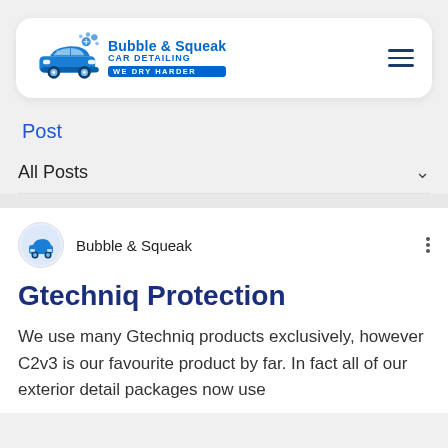Bubble & Squeak CAR DETAILING — WE DRY HARDER
Post
All Posts
Bubble & Squeak
Gtechniq Protection
We use many Gtechniq products exclusively, however C2v3 is our favourite product by far. In fact all of our exterior detail packages now use